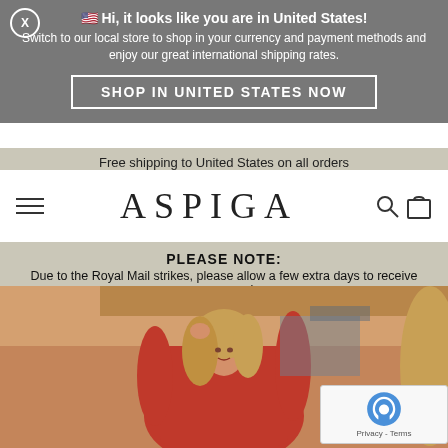X  🇺🇸 Hi, it looks like you are in United States!
Switch to our local store to shop in your currency and payment methods and enjoy our great international shipping rates.
SHOP IN UNITED STATES NOW
Free shipping to United States on all orders
ASPIGA
PLEASE NOTE:
Due to the Royal Mail strikes, please allow a few extra days to receive your parcel.
[Figure (photo): Model wearing a red long-sleeve dress, photographed outdoors with warm natural lighting and rustic background]